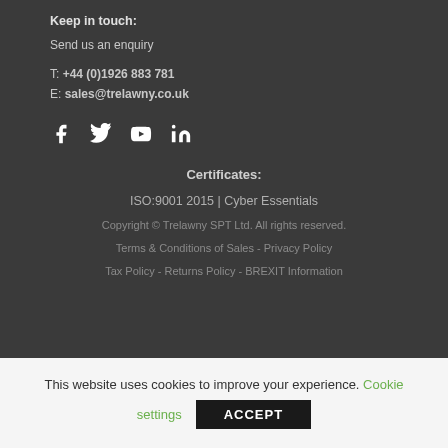Keep in touch:
Send us an enquiry
T: +44 (0)1926 883 781
E: sales@trelawny.co.uk
[Figure (infographic): Social media icons: Facebook, Twitter, YouTube, LinkedIn]
Certificates:
ISO:9001 2015 | Cyber Essentials
Copyright © Trelawny SPT Ltd. All rights reserved.
Terms & Conditions of Sales - Privacy Policy
Tax Policy - Returns Policy - BREXIT Information
This website uses cookies to improve your experience. Cookie settings
ACCEPT